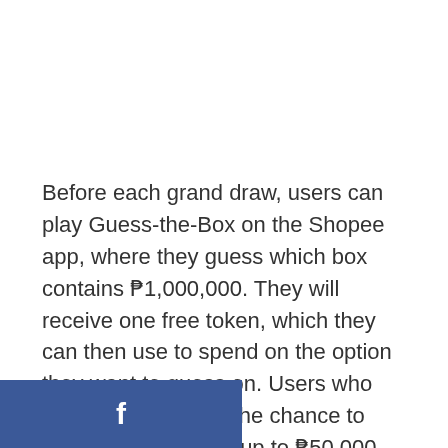Before each grand draw, users can play Guess-the-Box on the Shopee app, where they guess which box contains ₱1,000,000. They will receive one free token, which they can then use to spend on the option they want to guess on. Users who guess correctly get the chance to share a coin pool of up to ₱50,000.
[Figure (logo): Facebook logo 'f' icon in white on a blue rectangular background]